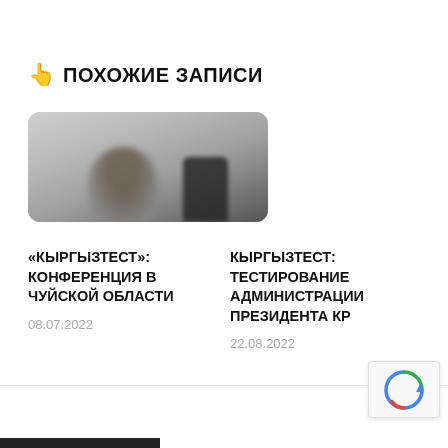👆 ПОХОЖИЕ ЗАПИСИ
[Figure (photo): Blurry photo showing a person and a dark rectangular object, likely a conference or press event scene]
«КЫРГЫЗТЕСТ»: КОНФЕРЕНЦИЯ В ЧУЙСКОЙ ОБЛАСТИ
08.07.2022
КЫРГЫЗТЕСТ: ТЕСТИРОВАНИЕ АДМИНИСТРАЦИИ ПРЕЗИДЕНТА КР
22.08.2022